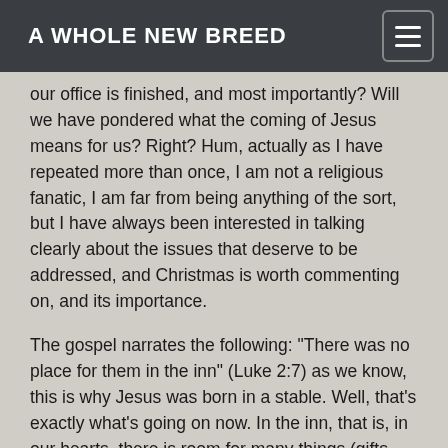A WHOLE NEW BREED
our office is finished, and most importantly? Will we have pondered what the coming of Jesus means for us? Right? Hum, actually as I have repeated more than once, I am not a religious fanatic, I am far from being anything of the sort, but I have always been interested in talking clearly about the issues that deserve to be addressed, and Christmas is worth commenting on, and its importance.
The gospel narrates the following: "There was no place for them in the inn" (Luke 2:7) as we know, this is why Jesus was born in a stable. Well, that's exactly what's going on now. In the inn, that is, in our hearts, there is room for many things (gifts, New Year's Eve parties, dinners, etc. all of them very valid by the way, I have nothing against that), but the problem is that since we dedicate so much time to those activities we